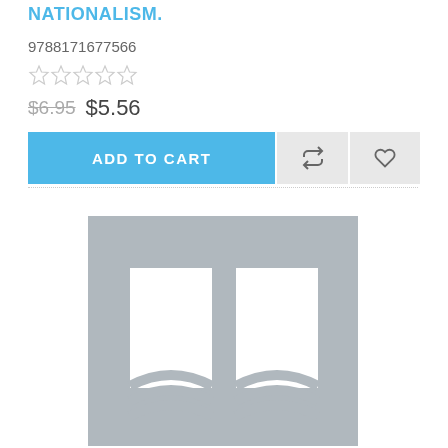NATIONALISM.
9788171677566
[Figure (other): Five empty star rating icons]
$6.95  $5.56
[Figure (other): Add to cart button row with refresh and heart icons]
[Figure (illustration): Grey placeholder book cover image with open book logo]